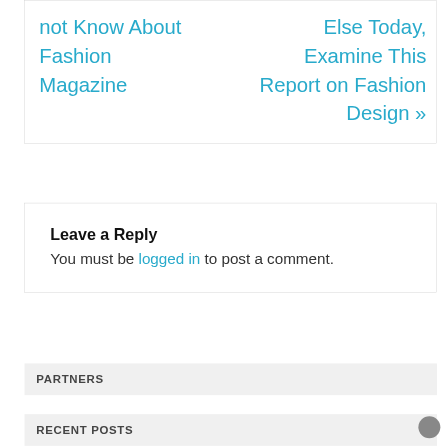not Know About Fashion Magazine
Else Today, Examine This Report on Fashion Design »
Leave a Reply
You must be logged in to post a comment.
PARTNERS
RECENT POSTS